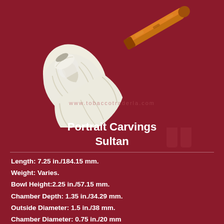[Figure (photo): A meerschaum pipe with white carved bowl depicting a Sultan portrait/figure, with an amber/orange acrylic stem, displayed on a dark maroon background. The pipe is oriented diagonally from lower-left to upper-right.]
Portrait Carvings Sultan
Length: 7.25 in./184.15 mm.
Weight: Varies.
Bowl Height:2.25 in./57.15 mm.
Chamber Depth: 1.35 in./34.29 mm.
Outside Diameter: 1.5 in./38 mm.
Chamber Diameter: 0.75 in./20 mm
Stem Material: Acrylic
Filter: None
Item No. 2020SMS0026